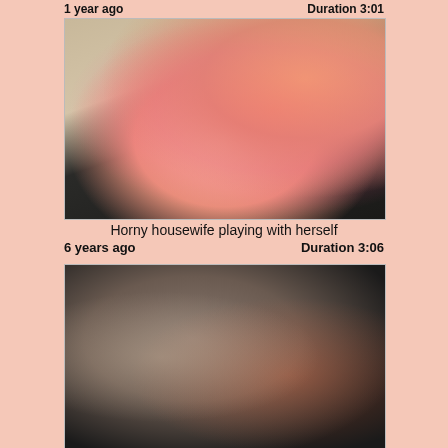1 year ago                                   Duration 3:01
[Figure (photo): Woman in pink dress seated on dark sofa]
Horny housewife playing with herself
6 years ago                                 Duration 3:06
[Figure (photo): Woman in black lingerie close-up photo]